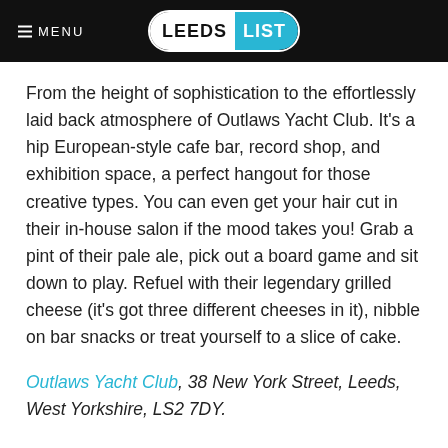MENU | LEEDS LIST
From the height of sophistication to the effortlessly laid back atmosphere of Outlaws Yacht Club. It’s a hip European-style cafe bar, record shop, and exhibition space, a perfect hangout for those creative types. You can even get your hair cut in their in-house salon if the mood takes you! Grab a pint of their pale ale, pick out a board game and sit down to play. Refuel with their legendary grilled cheese (it’s got three different cheeses in it), nibble on bar snacks or treat yourself to a slice of cake.
Outlaws Yacht Club, 38 New York Street, Leeds, West Yorkshire, LS2 7DY.